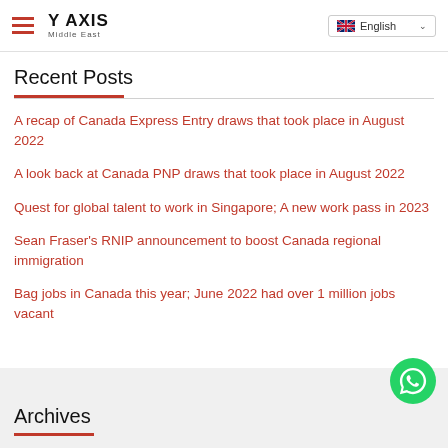Y AXIS Middle East — English
Recent Posts
A recap of Canada Express Entry draws that took place in August 2022
A look back at Canada PNP draws that took place in August 2022
Quest for global talent to work in Singapore; A new work pass in 2023
Sean Fraser's RNIP announcement to boost Canada regional immigration
Bag jobs in Canada this year; June 2022 had over 1 million jobs vacant
Archives